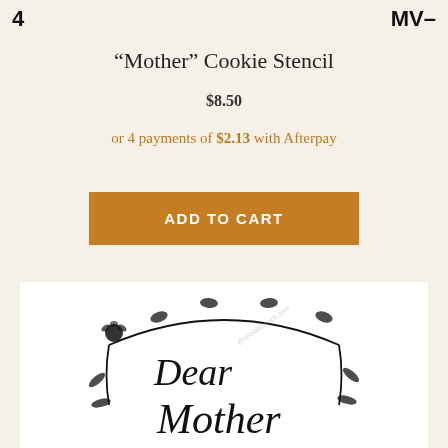4   MV-
“Mother” Cookie Stencil
$8.50
or 4 payments of $2.13 with Afterpay
ADD TO CART
[Figure (illustration): Cookie stencil product image showing a floral vine border with the words 'Dear Mother' in decorative script font, with a rose at the top and leaves along the vine border.]